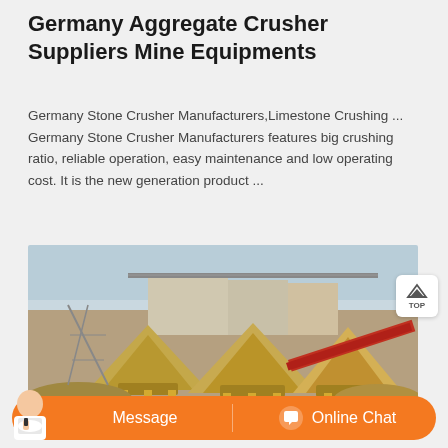Germany Aggregate Crusher Suppliers Mine Equipments
Germany Stone Crusher Manufacturers,Limestone Crushing ... Germany Stone Crusher Manufacturers features big crushing ratio, reliable operation, easy maintenance and low operating cost. It is the new generation product ...
[Figure (photo): Industrial aggregate crusher equipment facility showing multiple cone crushers and conveyor systems at a quarry or mining site, with stone piles and steel framework visible under a clear sky.]
Message   Online Chat